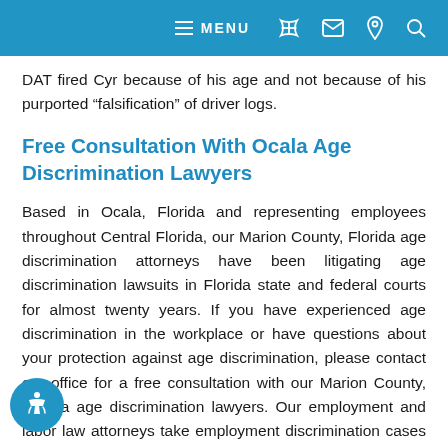MENU [phone] [email] [location] [search]
DAT fired Cyr because of his age and not because of his purported “falsification” of driver logs.
Free Consultation With Ocala Age Discrimination Lawyers
Based in Ocala, Florida and representing employees throughout Central Florida, our Marion County, Florida age discrimination attorneys have been litigating age discrimination lawsuits in Florida state and federal courts for almost twenty years. If you have experienced age discrimination in the workplace or have questions about your protection against age discrimination, please contact our office for a free consultation with our Marion County, Florida age discrimination lawyers. Our employment and labor law attorneys take employment discrimination cases on a contingency fee basis. This means that there are no